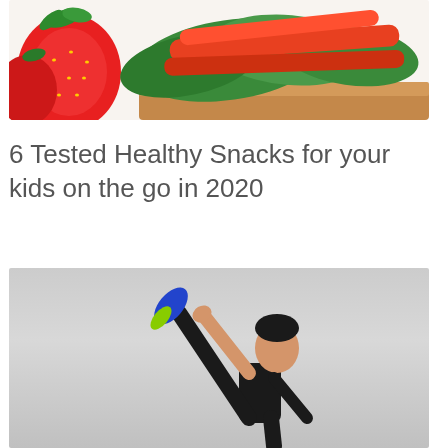[Figure (photo): Close-up photo of strawberries on the left and a vegetable sandwich with green lettuce and red pepper slices on the right, on a white background.]
6 Tested Healthy Snacks for your kids on the go in 2020
[Figure (photo): Photo of a man in black athletic wear performing a high kick or core exercise, with his leg and arm raised, against a light grey background.]